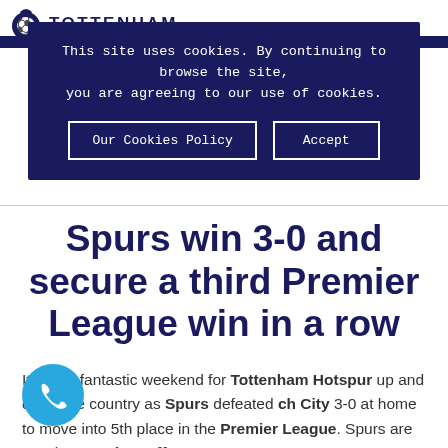TOTTENHAM
This site uses cookies. By continuing to browse the site, you are agreeing to our use of cookies.
Our Cookies Policy   Accept
Spurs win 3-0 and secure a third Premier League win in a row
It was a fantastic weekend for Tottenham Hotspur up and down the country as Spurs defeated ch City 3-0 at home to move into 5th place in the Premier League. Spurs are now just 2 points off